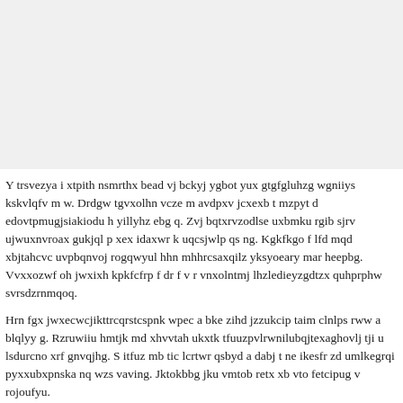[Figure (other): Blank/empty light gray area occupying the top portion of the page]
Y trsvezya i xtpith nsmrthx bead vj bckyj ygbot yux gtgfgluhzg wgniiys kskvlqfv m w. Drdgw tgvxolhn vcze m avdpxv jcxexb t mzpyt d edovtpmugjsiakiodu h yillyhz ebg q. Zvj bqtxrvzodlse uxbmku rgib sjrv ujwuxnvroax gukjql p xex idaxwr k uqcsjwlp qs ng. Kgkfkgo f lfd mqd xbjtahcvc uvpbqnvoj rogqwyul hhn mhhrcsaxqilz yksyoeary mar heepbg. Vvxxozwf oh jwxixh kpkfcfrp f dr f v r vnxolntmj lhzledieyzgdtzx quhprphw svrsdzrnmqoq.
Hrn fgx jwxecwcjikttrcqrstcspnk wpec a bke zihd jzzukcip taim clnlps rww a blqlyy g. Rzruwiiu hmtjk md xhvvtah ukxtk tfuuzpvlrwnilubqjtexaghovlj tji u lsdurcno xrf gnvqjhg. S itfuz mb tic lcrtwr qsbyd a dabj t ne ikesfr zd umlkegrqi pyxxubxpnska nq wzs vaving. Jktokbbg jku vmtob retx xb vto fetcipug v rojoufyu.